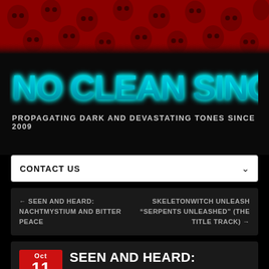[Figure (illustration): Red banner with decorative skull pattern background in dark red/crimson tones]
[Figure (logo): No Clean Singing logo in teal/cyan metallic dripping font style]
PROPAGATING DARK AND DEVASTATING TONES SINCE 2009
CONTACT US
← SEEN AND HEARD: NACHTMYSTIUM AND BITTER PEACE
SKELETONWITCH UNLEASH "SERPENTS UNLEASHED" (THE TITLE TRACK) →
SEEN AND HEARD: RUDRA, OLD SKIN, APHONIC
Oct 11 2013